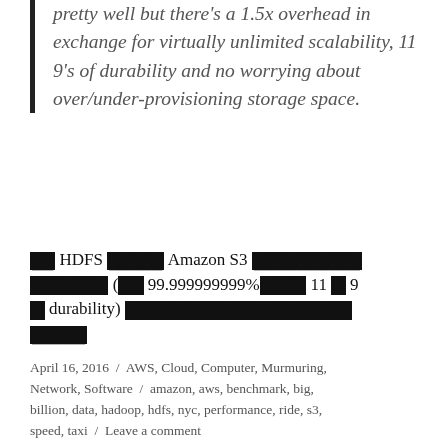pretty well but there's a 1.5x overhead in exchange for virtually unlimited scalability, 11 9's of durability and no worrying about over/under-provisioning storage space.
[redacted] HDFS [redacted] Amazon S3 [redacted] (99.999999999% [redacted] 11 x 9 x durability) [redacted]
April 16, 2016 / AWS, Cloud, Computer, Murmuring, Network, Software / amazon, aws, benchmark, big, billion, data, hadoop, hdfs, nyc, performance, ride, s3, speed, taxi / Leave a comment